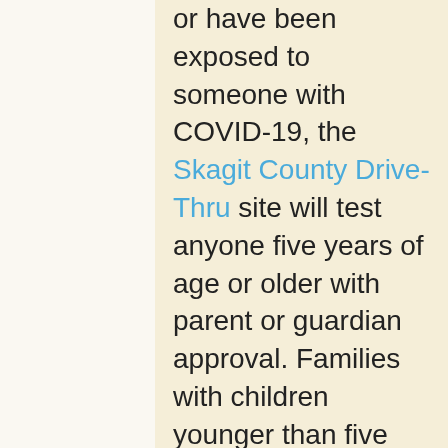or have been exposed to someone with COVID-19, the Skagit County Drive-Thru site will test anyone five years of age or older with parent or guardian approval. Families with children younger than five should reach out to their pediatric provider's office to ask about testing.
Sources:
CDC Information for Pediatric Healthcare Providers: